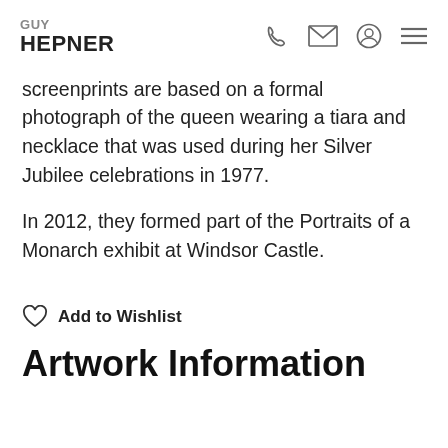GUY HEPNER
screenprints are based on a formal photograph of the queen wearing a tiara and necklace that was used during her Silver Jubilee celebrations in 1977.
In 2012, they formed part of the Portraits of a Monarch exhibit at Windsor Castle.
Add to Wishlist
Artwork Information